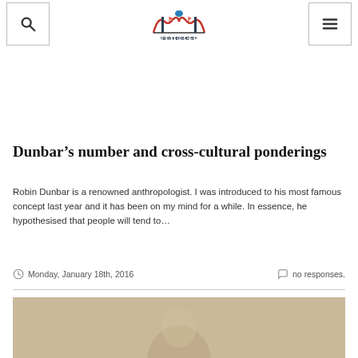Collaborative Bridges — navigation header with search and menu buttons
Dunbar’s number and cross-cultural ponderings
Robin Dunbar is a renowned anthropologist. I was introduced to his most famous concept last year and it has been on my mind for a while. In essence, he hypothesised that people will tend to…
Monday, January 18th, 2016   no responses.
[Figure (photo): Bottom portion of a photo showing a person, beige/tan toned background]